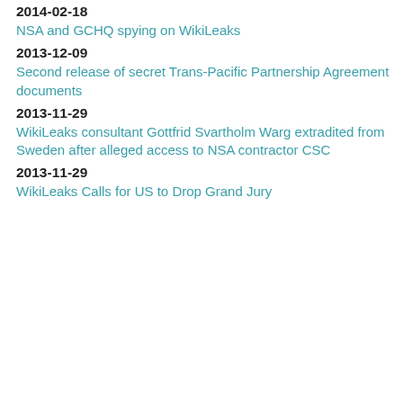2014-02-18
NSA and GCHQ spying on WikiLeaks
2013-12-09
Second release of secret Trans-Pacific Partnership Agreement documents
2013-11-29
WikiLeaks consultant Gottfrid Svartholm Warg extradited from Sweden after alleged access to NSA contractor CSC
2013-11-29
WikiLeaks Calls for US to Drop Grand Jury
It is also a serious violation of the law. The Human Rights, and numerous statutes and these programs as illegal, my government a affair. These rulings simply corrupt the mos the use of secret law.
I believe in the principle declared at Nurem obedience. Therefore individual citizens ha
Accordingly, I did what I believed right and secrets. I did not partner with any foreign g can be discussed by all of us in the light of
That moral decision to tell the public about
Since that time, the government and intellig to all others who might speak out as I have Government has placed me on no-fly lists. principle of non-refoulement – the Law of N UN asylum system. It has even taken the u for a political refugee. These dangerous es every person, every nation, to live free from
Yet even in the face of this historically disp including Russia, Venezuela, Bolivia, Nicar violations carried out by the powerful rather earned the respect of the world. It is my int